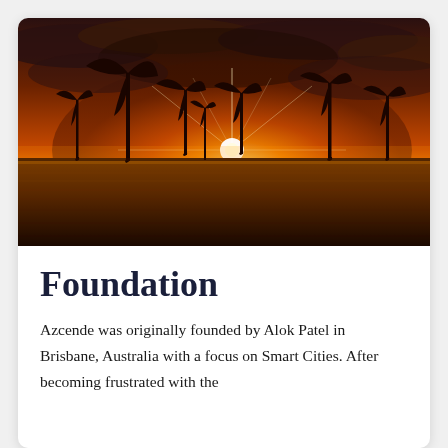[Figure (photo): Photograph of multiple wind turbines silhouetted against a dramatic orange and red sunset sky over a flat agricultural field, with bright sunburst from the sun on the horizon.]
Foundation
Azcende was originally founded by Alok Patel in Brisbane, Australia with a focus on Smart Cities. After becoming frustrated with the